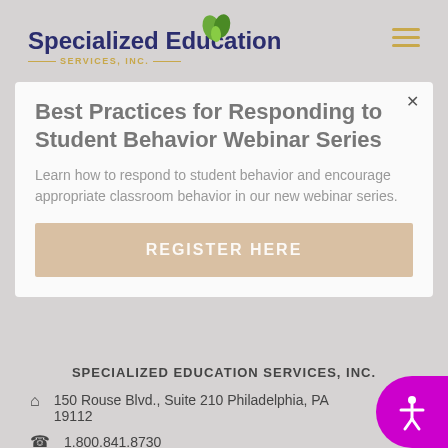[Figure (logo): Specialized Education Services, Inc. logo with green leaf icon and navy/gold text]
Best Practices for Responding to Student Behavior Webinar Series
Learn how to respond to student behavior and encourage appropriate classroom behavior in our new webinar series.
REGISTER HERE
SPECIALIZED EDUCATION SERVICES, INC.
150 Rouse Blvd., Suite 210 Philadelphia, PA 19112
1.800.841.8730
PROGRAMS